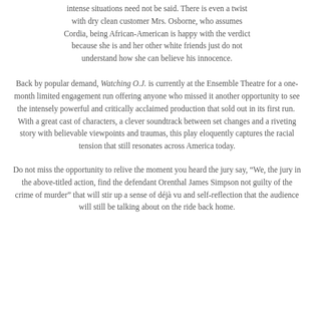intense situations need not be said. There is even a twist with dry clean customer Mrs. Osborne, who assumes Cordia, being African-American is happy with the verdict because she is and her other white friends just do not understand how she can believe his innocence.
Back by popular demand, Watching O.J. is currently at the Ensemble Theatre for a one-month limited engagement run offering anyone who missed it another opportunity to see the intensely powerful and critically acclaimed production that sold out in its first run.  With a great cast of characters, a clever soundtrack between set changes and a riveting story with believable viewpoints and traumas, this play eloquently captures the racial tension that still resonates across America today.
Do not miss the opportunity to relive the moment you heard the jury say, “We, the jury in the above-titled action, find the defendant Orenthal James Simpson not guilty of the crime of murder” that will stir up a sense of déjà vu and self-reflection that the audience will still be talking about on the ride back home.